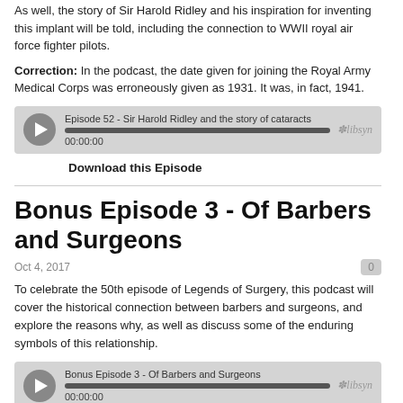As well, the story of Sir Harold Ridley and his inspiration for inventing this implant will be told, including the connection to WWII royal air force fighter pilots.
Correction: In the podcast, the date given for joining the Royal Army Medical Corps was erroneously given as 1931. It was, in fact, 1941.
[Figure (screenshot): Audio player widget showing 'Episode 52 - Sir Harold Ridley and the story of cataracts', progress bar, timestamp 00:00:00, and libsyn branding]
Download this Episode
Bonus Episode 3 - Of Barbers and Surgeons
Oct 4, 2017
To celebrate the 50th episode of Legends of Surgery, this podcast will cover the historical connection between barbers and surgeons, and explore the reasons why, as well as discuss some of the enduring symbols of this relationship.
[Figure (screenshot): Audio player widget showing 'Bonus Episode 3 - Of Barbers and Surgeons', progress bar, timestamp 00:00:00, and libsyn branding]
Download this Episode